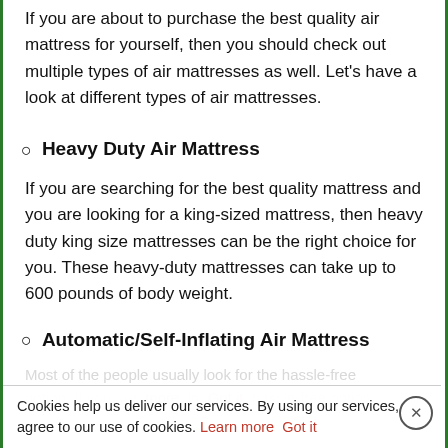If you are about to purchase the best quality air mattress for yourself, then you should check out multiple types of air mattresses as well. Let's have a look at different types of air mattresses.
Heavy Duty Air Mattress
If you are searching for the best quality mattress and you are looking for a king-sized mattress, then heavy duty king size mattresses can be the right choice for you. These heavy-duty mattresses can take up to 600 pounds of body weight.
Automatic/Self-Inflating Air Mattress
Most of the people usually look for the hassle-free option. If you are into hassle-free option,
Cookies help us deliver our services. By using our services, you agree to our use of cookies. Learn more  Got it